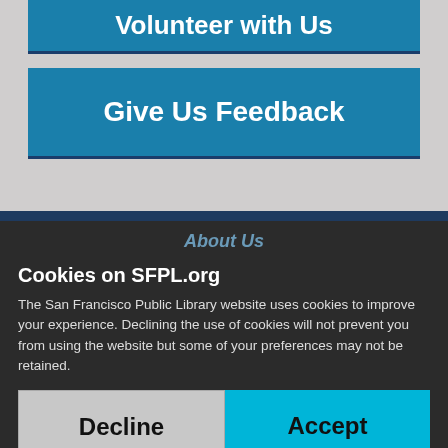Volunteer with Us
Give Us Feedback
About Us
Cookies on SFPL.org
The San Francisco Public Library website uses cookies to improve your experience. Declining the use of cookies will not prevent you from using the website but some of your preferences may not be retained.
Decline
Accept
Press Room